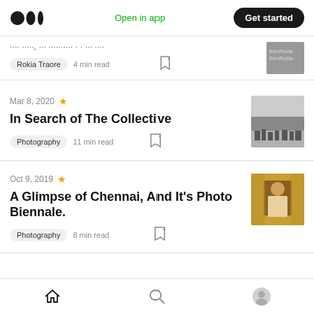Medium logo | Open in app | Get started
…title, reproduction of some…
Rokia Traore  4 min read
Mar 8, 2020
In Search of The Collective
Photography  11 min read
Oct 9, 2019
A Glimpse of Chennai, And It's Photo Biennale.
Photography  8 min read
Home | Search | Profile